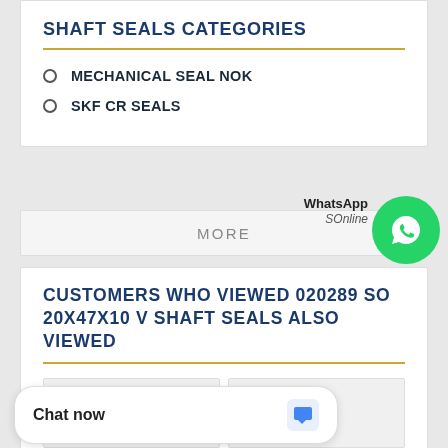SHAFT SEALS CATEGORIES
MECHANICAL SEAL NOK
SKF CR SEALS
MORE
[Figure (logo): WhatsApp green circle icon with phone handset]
WhatsApp
SOnline
CUSTOMERS WHO VIEWED 020289 SO 20X47X10 V SHAFT SEALS ALSO VIEWED
[Figure (other): Two gray product placeholder boxes side by side]
Chat now